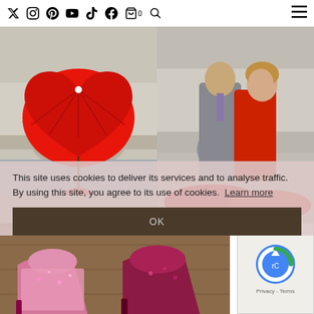Social media icons: Twitter, Instagram, Pinterest, YouTube, TikTok, Facebook, Cart (0), Search, Menu
[Figure (photo): Left photo: person holding a large red heart-shaped umbrella near a bridge over water in Paris]
[Figure (photo): Right photo: couple kissing with red umbrellas near a stone arch bridge]
This site uses cookies to deliver its services and to analyse traffic. By using this site, you agree to its use of cookies. Learn more
OK
[Figure (photo): Bottom photo: sparkly pink and dark red high-heeled shoes on a wooden surface]
[Figure (logo): reCAPTCHA logo with Privacy and Terms text]